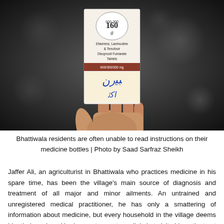[Figure (photo): A hand holding a medicine box labeled 'Efavirenz, Lamivudine & Tenofovir Disoproxil Fumarate Tablets 600/300/300mg' with handwritten Urdu script on it]
Bhattiwala residents are often unable to read instructions on their medicine bottles | Photo by Saad Sarfraz Sheikh
Jaffer Ali, an agriculturist in Bhattiwala who practices medicine in his spare time, has been the village's main source of diagnosis and treatment of all major and minor ailments. An untrained and unregistered medical practitioner, he has only a smattering of information about medicine, but every household in the village deems him their saviour. He does not operate a clinic but visits his patients at their homes to administer some known painkillers, steroids and